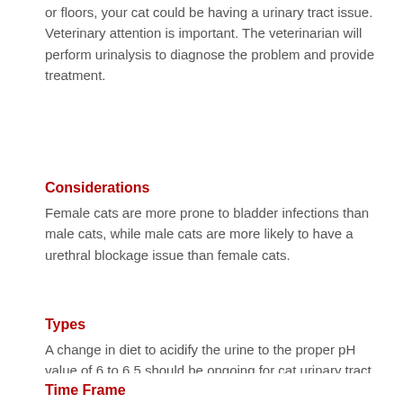or floors, your cat could be having a urinary tract issue. Veterinary attention is important. The veterinarian will perform urinalysis to diagnose the problem and provide treatment.
Considerations
Female cats are more prone to bladder infections than male cats, while male cats are more likely to have a urethral blockage issue than female cats.
Types
A change in diet to acidify the urine to the proper pH value of 6 to 6.5 should be ongoing for cat urinary tract health. Antibiotics may be prescribed or immediate treatment may be necessary, if the infection is connected to a blockage of the urethra or to kidney stones.
Time Frame